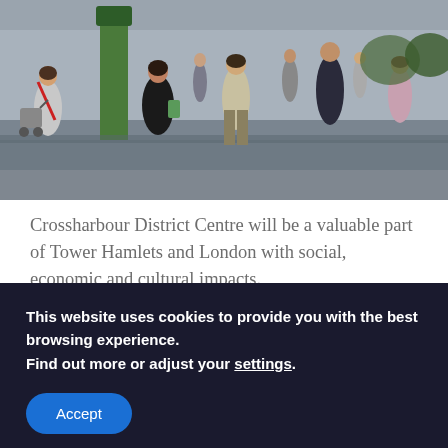[Figure (photo): Street-level photo of pedestrians walking in an urban district centre, with people of various ages walking along a wide pedestrianised shopping street. A person with a pram/wheelchair visible on the left, people carrying shopping bags.]
Crossharbour District Centre will be a valuable part of Tower Hamlets and London with social, economic and cultural impacts.
Our proposals for the District Centre will deliver against 5 themes derived from priority policies and initiatives of the
This website uses cookies to provide you with the best browsing experience.
Find out more or adjust your settings.